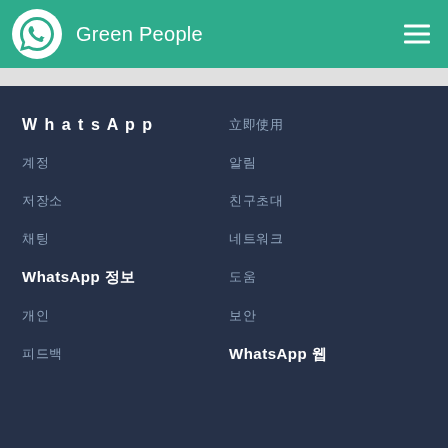Green People
WhatsApp
앱 내
보안
개인 정보
채팅
알림 설정
저장
네트워크
WhatsApp 정보
도움
피드백
계정
알림
초대 친구
WhatsApp 웹